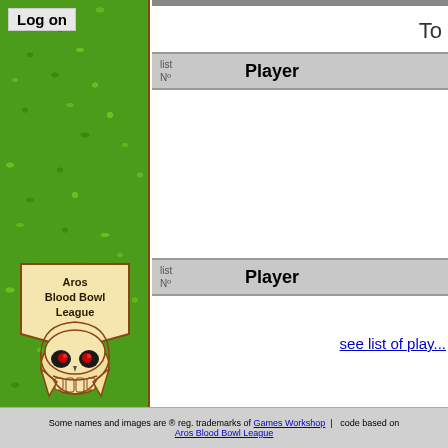Log on
[Figure (illustration): Green grass textured sidebar with Aros Blood Bowl League skull logo at the bottom]
To
| list Nº | Player |
| --- | --- |
| list Nº | Player |
| --- | --- |
see list of play...
Some names and images are ® reg. trademarks of Games Workshop | code based on Aros Blood Bowl League